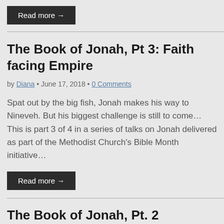Read more →
The Book of Jonah, Pt 3: Faith facing Empire
by Diana • June 17, 2018 • 0 Comments
Spat out by the big fish, Jonah makes his way to Nineveh. But his biggest challenge is still to come… This is part 3 of 4 in a series of talks on Jonah delivered as part of the Methodist Church's Bible Month initiative…
Read more →
The Book of Jonah, Pt. 2